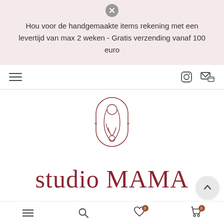Hou voor de handgemaakte items rekening met een levertijd van max 2 weken - Gratis verzending vanaf 100 euro
[Figure (logo): Studio Mama logo: line-art illustration of a mother and child within an arch/oval frame, drawn in dark rose/mauve color]
studio MAMA